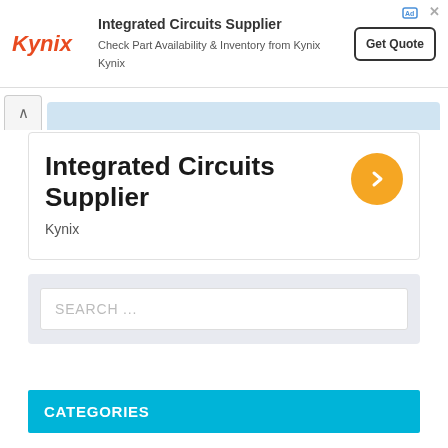[Figure (screenshot): Kynix integrated circuits supplier advertisement banner with logo, text, and Get Quote button]
Integrated Circuits Supplier
Kynix
SEARCH ...
CATEGORIES